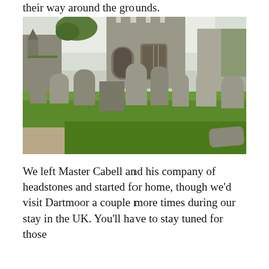their way around the grounds.
[Figure (photo): A churchyard scene with numerous old weathered gravestones and headstones in the foreground, set against a stone Gothic-style church tower and walls, with lush green grass growing around the graves and trees visible in the background.]
We left Master Cabell and his company of headstones and started for home, though we'd visit Dartmoor a couple more times during our stay in the UK. You'll have to stay tuned for those